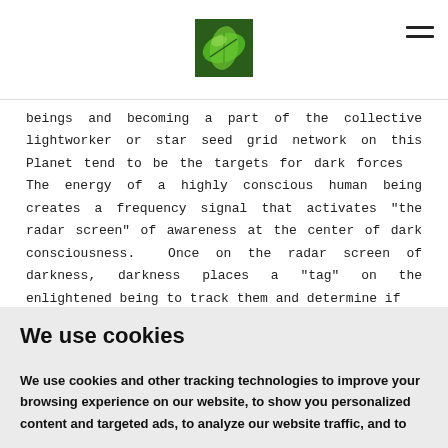[Figure (logo): Green leaf logo image in header center]
beings and becoming a part of the collective lightworker or star seed grid network on this Planet tend to be the targets for dark forces  The energy of a highly conscious human being creates a frequency signal that activates "the radar screen" of awareness at the center of dark consciousness.  Once on the radar screen of darkness, darkness places a "tag" on the enlightened being to track them and determine if
We use cookies
We use cookies and other tracking technologies to improve your browsing experience on our website, to show you personalized content and targeted ads, to analyze our website traffic, and to